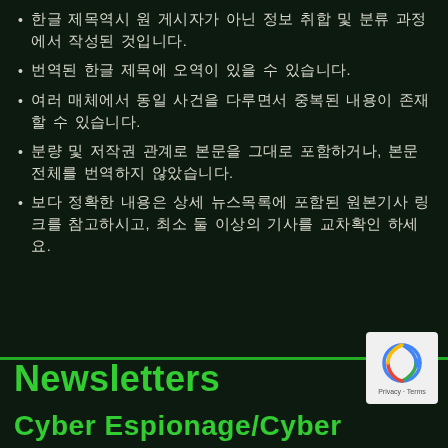한글 제목역시 원 게시자가 아닌 정보 취합 및 분류 과정에서 작성된 것입니다.
번역된 한글 제목에 오역이 있을 수 있습니다.
여러 매체에서 동일 사건을 다루면서 중복된 내용이 존재할 수 있습니다.
분량 및 저작권 관계로 본문을 그대로 포함하거나, 본문 전체를 번역하지 않았습니다.
보다 정확한 내용은 상세 뉴스목록에 포함된 원본기사 링크를 참고하시고, 최소 둘 이상의 기사를 교차확인 하세요.
Newsletters
Cyber Espionage/Cyber